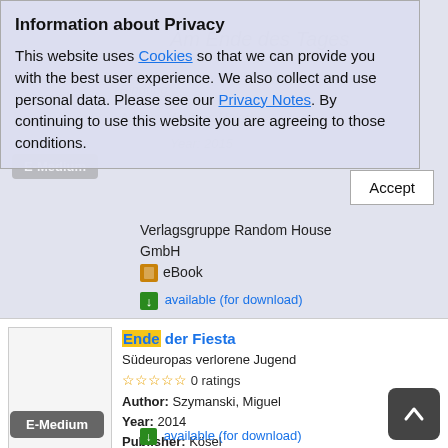Information about Privacy
This website uses Cookies so that we can provide you with the best user experience. We also collect and use personal data. Please see our Privacy Notes. By continuing to use this website you are agreeing to those conditions.
Accept
Verlagsgruppe Random House GmbH
eBook
available (for download)
Ende der Fiesta
Südeuropas verlorene Jugend
0 ratings
Author: Szymanski, Miguel
Year: 2014
Publisher: Kösel
eBook
available (for download)